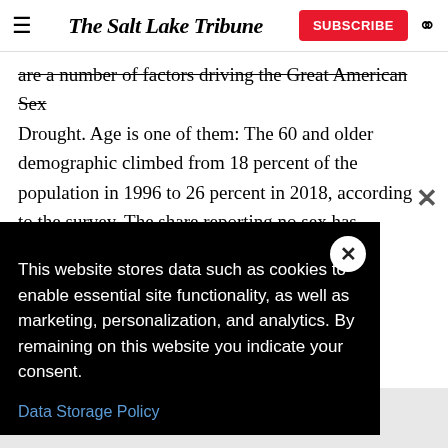The Salt Lake Tribune | SUBSCRIBE
are a number of factors driving the Great American Sex Drought. Age is one of them: The 60 and older demographic climbed from 18 percent of the population in 1996 to 26 percent in 2018, according to the survey. The share reporting no sex has consistently hovered around 50 percent among that group is ... net effect of ... of having
This website stores data such as cookies to enable essential site functionality, as well as marketing, personalization, and analytics. By remaining on this website you indicate your consent.
Data Storage Policy